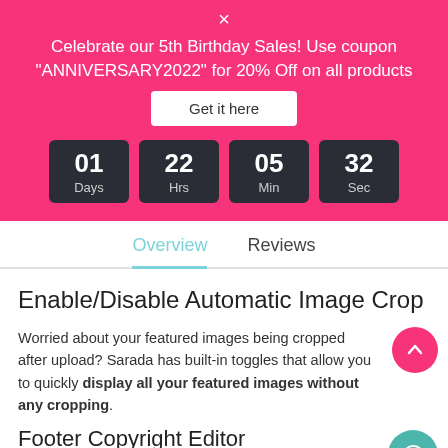×
Celebrate our 5th Birthday Sales! Use coupon "ANNIVERSARY2022" for 20% Off on all products
Get it here
[Figure (infographic): Countdown timer showing 01 Days, 22 Hrs, 05 Min, 32 Sec in dark boxes]
Overview
Reviews
Enable/Disable Automatic Image Crop
Worried about your featured images being cropped after upload? Sarada has built-in toggles that allow you to quickly display all your featured images without any cropping.
Footer Copyright Editor